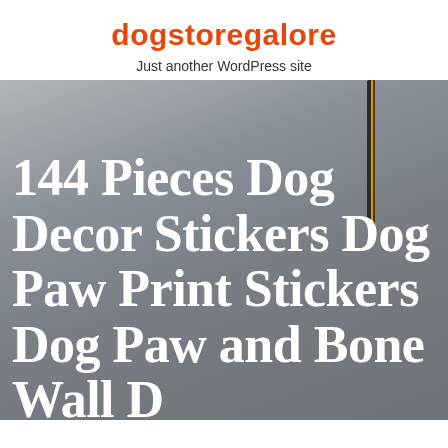dogstoregalore
Just another WordPress site
[Figure (photo): Close-up photo of a dark pencil or stick object against a gray blurred background. White large serif text overlaid reads: 144 Pieces Dog Decor Stickers Dog Paw Print Stickers Dog Paw and Bone Wall D...]
144 Pieces Dog Decor Stickers Dog Paw Print Stickers Dog Paw and Bone Wall D…